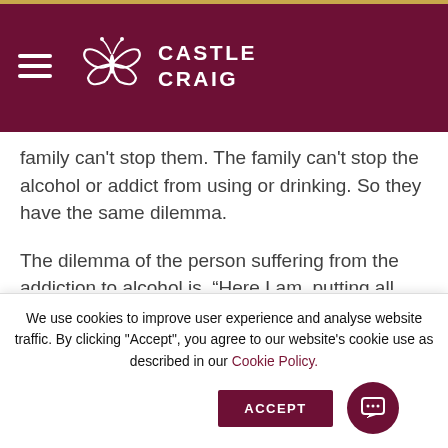CASTLE CRAIG
family can't stop them. The family can't stop the alcohol or addict from using or drinking. So they have the same dilemma.
The dilemma of the person suffering from the addiction to alcohol is, “Here I am, putting all this effort into feeling okay with this alcohol stuff and nothing changes.” And the family are putting in all this effort into trying to stop or help the alcoholic or addict stop
We use cookies to improve user experience and analyse website traffic. By clicking "Accept", you agree to our website's cookie use as described in our Cookie Policy.